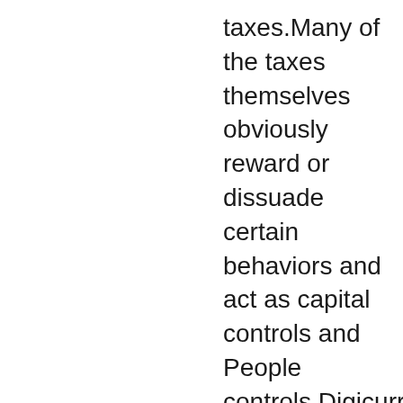taxes.Many of the taxes themselves obviously reward or dissuade certain behaviors and act as capital controls and People controls.Digicurrency will do this to the nth degree much like the recent HSBC trend of Freezing the accounts of HongKong dissidents.A nice cover story of $laundering/corruption usually suffices. Regarding the Swiss issue,I am Not a financial/bank expert or holder of an MBA,but I am Interested in the history,patterns,motives,real life consequences and so I learn as I go.Would the recent change in Swiss Bank behavior be a move to safety and a signal that it knows the Fed is pulling the rug out from under the fake market?I think that